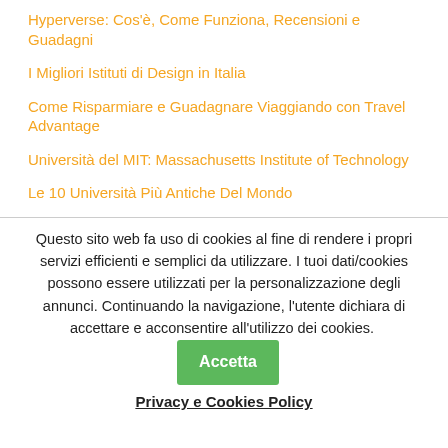Hyperverse: Cos'è, Come Funziona, Recensioni e Guadagni
I Migliori Istituti di Design in Italia
Come Risparmiare e Guadagnare Viaggiando con Travel Advantage
Università del MIT: Massachusetts Institute of Technology
Le 10 Università Più Antiche Del Mondo
Questo sito web fa uso di cookies al fine di rendere i propri servizi efficienti e semplici da utilizzare. I tuoi dati/cookies possono essere utilizzati per la personalizzazione degli annunci. Continuando la navigazione, l'utente dichiara di accettare e acconsentire all'utilizzo dei cookies. Accetta
Privacy e Cookies Policy